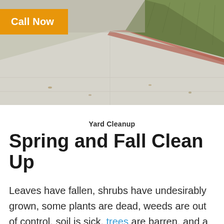[Figure (photo): Outdoor photo of a concrete pathway bordered by a red brick edge with green grass lawn beyond, viewed at an angle from above.]
Call Now
Yard Cleanup
Spring and Fall Clean Up
Leaves have fallen, shrubs have undesirably grown, some plants are dead, weeds are out of control, soil is sick, trees are barren, and a lot of